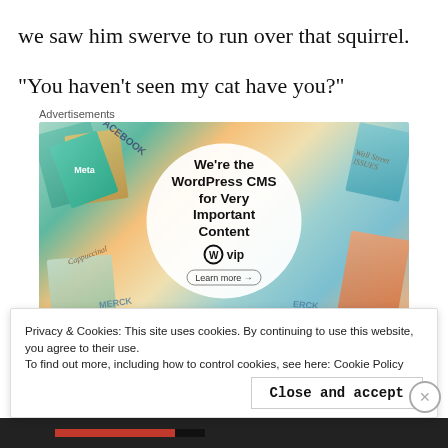we saw him swerve to run over that squirrel.
“You haven’t seen my cat have you?”
[Figure (screenshot): Advertisement for WordPress VIP CMS. Shows a circular badge with text 'We're the WordPress CMS for Very Important Content' with WordPress WP logo and a 'Learn more →' button, surrounded by various colorful book/magazine covers including Meta, Facebook, and other publications.]
Privacy & Cookies: This site uses cookies. By continuing to use this website, you agree to their use.
To find out more, including how to control cookies, see here: Cookie Policy
Close and accept